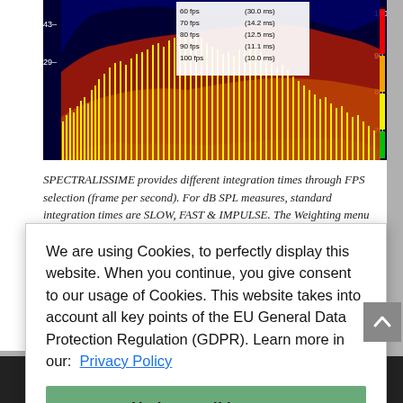[Figure (screenshot): Spectralissime audio spectrum analyzer screenshot showing colored frequency bars (green, yellow, red) against dark blue/black background with FPS legend overlay showing values like 60fps (30.0ms), 70fps (14.2ms), 80fps (12.5ms), 90fps (11.1ms), 100fps (10.0ms)]
SPECTRALISSIME provides different integration times through FPS selection (frame per second). For dB SPL measures, standard integration times are SLOW, FAST & IMPULSE. The Weighting menu allows the
We are using Cookies, to perfectly display this website. When you continue, you give consent to our usage of Cookies. This website takes into account all key points of the EU General Data Protection Regulation (GDPR). Learn more in our:  Privacy Policy
Understood! I agree.